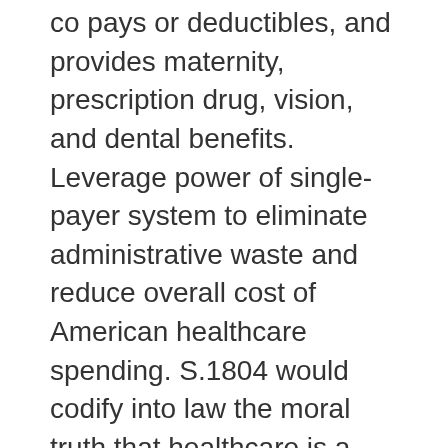co pays or deductibles, and provides maternity, prescription drug, vision, and dental benefits. Leverage power of single-payer system to eliminate administrative waste and reduce overall cost of American healthcare spending. S.1804 would codify into law the moral truth that healthcare is a human right.
H.Res.31 - Restore Service Standards
Calls for USPS to restore 2012 mail service standards. Prompt and reliable nationwide mail service is critical to retaining business, growing business and satisfying customers. Delayed mail will